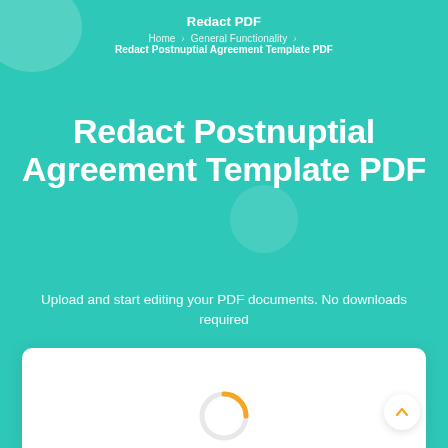Redact PDF
Home › General Functionality › Redact Postnuptial Agreement Template PDF
Redact Postnuptial Agreement Template PDF
Upload and start editing your PDF documents. No downloads required
[Figure (other): Loading spinner (orange arc) with 'Loading...' text below, inside a white card panel]